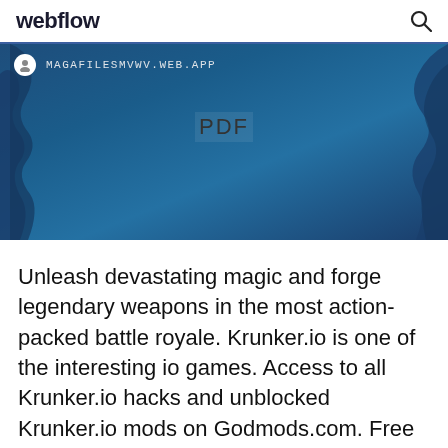webflow
[Figure (screenshot): Banner image showing a dark blue map background with a browser address bar showing MAGAFILESMVWV.WEB.APP and a PDF label overlay]
Unleash devastating magic and forge legendary weapons in the most action-packed battle royale. Krunker.io is one of the interesting io games. Access to all Krunker.io hacks and unblocked Krunker.io mods on Godmods.com. Free to Play Krunker.io on Godmods!. We advise you to visit GodMods.com from